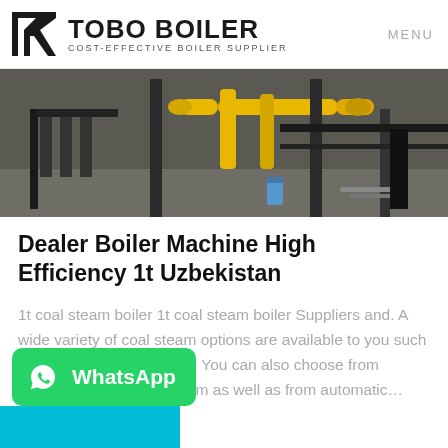TOBO BOILER COST-EFFECTIVE BOILER SUPPLIER | MENU
[Figure (photo): Industrial boiler room with yellow and black pipework, steel supports, and a concrete floor. Various equipment and materials visible.]
Dealer Boiler Machine High Efficiency 1t Uzbekistan
1t coal steam boiler 1t coal steam boiler Suppliers and. A wide variety of coal steam options are available to you such as industrial power station You can also choose from mexico pakistan coal steam as well as from automatic…
[Figure (screenshot): WhatsApp contact button — green rounded rectangle with WhatsApp logo icon and 'WhatsApp' label in white text]